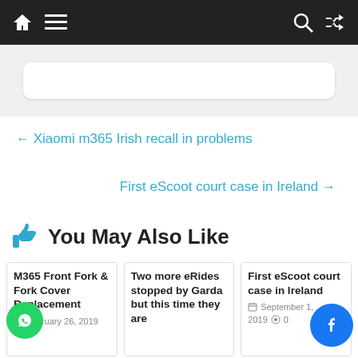Navigation bar with home, menu, search, and shuffle icons
← Xiaomi m365 Irish recall in problems
First eScoot court case in Ireland →
👍 You May Also Like
M365 Front Fork & Fork Cover Replacement
February 26, 2019
Two more eRides stopped by Garda but this time they are
First eScoot court case in Ireland
September 1, 2019
0